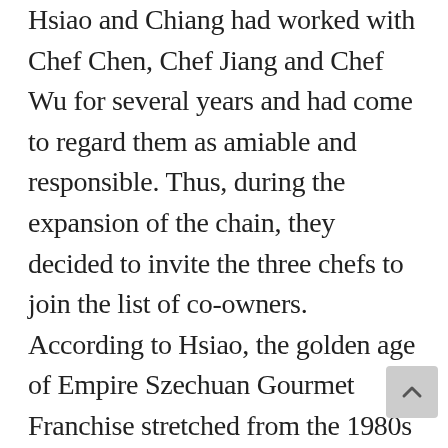Hsiao and Chiang had worked with Chef Chen, Chef Jiang and Chef Wu for several years and had come to regard them as amiable and responsible. Thus, during the expansion of the chain, they decided to invite the three chefs to join the list of co-owners. According to Hsiao, the golden age of Empire Szechuan Gourmet Franchise stretched from the 1980s into the 1990s, during which time there were, at the chain's peak, a total of 14 restaurants simultaneously operating in greater New York City, including locations from Manhattan to Long Island.8 In order to ensure sufficient daily food supplies to all of the franchises in greater New York